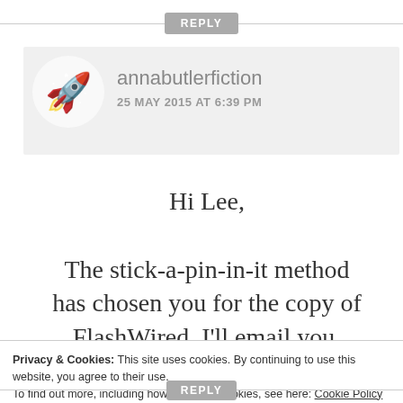REPLY
annabutlerfiction
25 MAY 2015 AT 6:39 PM
Hi Lee,

The stick-a-pin-in-it method has chosen you for the copy of FlashWired. I'll email you.
Privacy & Cookies: This site uses cookies. By continuing to use this website, you agree to their use.
To find out more, including how to control cookies, see here: Cookie Policy
Close and accept
REPLY